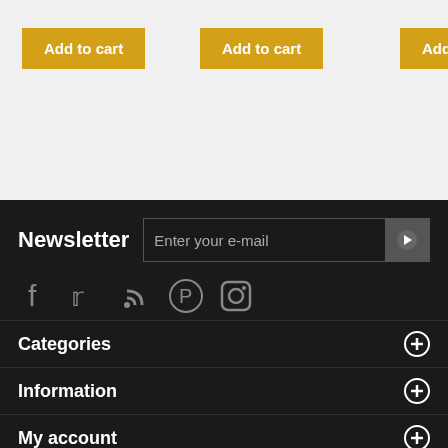Add to cart (button 1)
Add to cart (button 2)
A... (button 3, partially visible)
Newsletter
Enter your e-mail
[Figure (infographic): Social media icons: Facebook, Twitter, RSS, Pinterest, Instagram]
Categories
Information
My account
Store Information